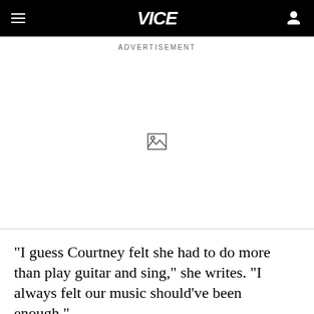VICE
ADVERTISEMENT
[Figure (other): Advertisement placeholder area with broken image icon in the center]
"I guess Courtney felt she had to do more than play guitar and sing," she writes. "I always felt our music should've been enough."